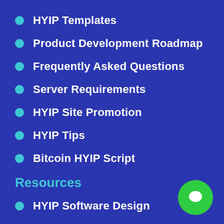HYIP Templates
Product Development Roadmap
Frequently Asked Questions
Server Requirements
HYIP Site Promotion
HYIP Tips
Bitcoin HYIP Script
Resources
HYIP Software Design
Bitcoin Donation Script